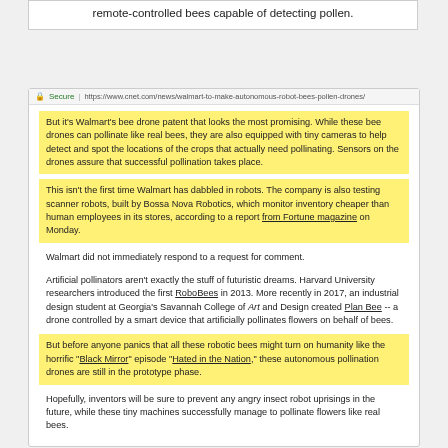remote-controlled bees capable of detecting pollen.
[Figure (screenshot): Browser window showing a CNET article about Walmart bee drones and robotic pollinators, with address bar showing https://www.cnet.com/news/walmart-to-make-autonomous-robot-bees-pollen-drones/]
But it's Walmart's bee drone patent that looks the most promising. While these bee drones can pollinate like real bees, they are also equipped with tiny cameras to help detect and spot the locations of the crops that actually need pollinating. Sensors on the drones assure that successful pollination takes place.
This isn't the first time Walmart has dabbled in robots. The company is also testing scanner robots, built by Bossa Nova Robotics, which monitor inventory cheaper than human employees in its stores, according to a report from Fortune magazine on Monday.
Walmart did not immediately respond to a request for comment.
Artificial pollinators aren't exactly the stuff of futuristic dreams. Harvard University researchers introduced the first RoboBees in 2013. More recently in 2017, an industrial design student at Georgia's Savannah College of Art and Design created Plan Bee -- a drone controlled by a smart device that artificially pollinates flowers on behalf of bees.
But before anyone panics that all these robotic bees might turn on humanity like the horrific "Black Mirror" episode "Hated in the Nation," these autonomous pollination drones are still in the prototype phase.
Hopefully, inventors will be sure to prevent any angry insect robot uprisings in the future, while these tiny machines successfully manage to pollinate flowers like real bees.